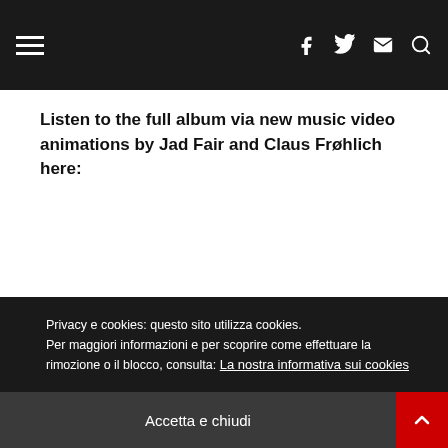≡  [Facebook] [Twitter] [Email] [Search]
Listen to the full album via new music video animations by Jad Fair and Claus Frøhlich here:
Privacy e cookies: questo sito utilizza cookies. Per maggiori informazioni e per scoprire come effettuare la rimozione o il blocco, consulta: La nostra informativa sui cookies
Accetta e chiudi